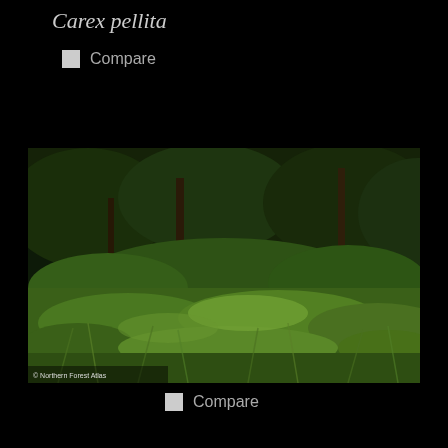Carex pellita
Compare
[Figure (photo): Photograph of Carex pellita (woolly sedge) growing in a forest understory setting, showing dense grassy vegetation in the foreground with trees and shrubs in the background. Photo credit: © Northern Forest Atlas]
© Northern Forest Atlas
Compare